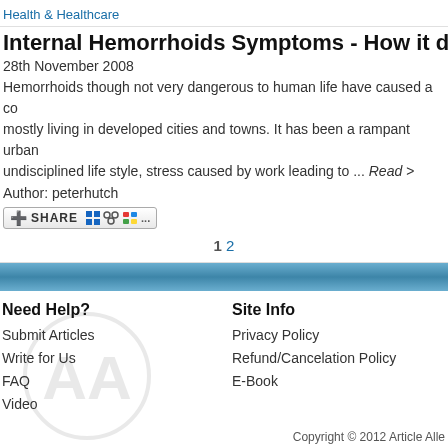Health & Healthcare
Internal Hemorrhoids Symptoms - How it differs from Exter
28th November 2008
Hemorrhoids though not very dangerous to human life have caused a co mostly living in developed cities and towns. It has been a rampant urban undisciplined life style, stress caused by work leading to ... Read >
Author: peterhutch
[Figure (other): Social sharing button with share icons]
1 2
Need Help?
Submit Articles
Write for Us
FAQ
Video
Site Info
Privacy Policy
Refund/Cancelation Policy
E-Book
Copyright © 2012 Article Alle
Other product and company names s
© Oyster Interne